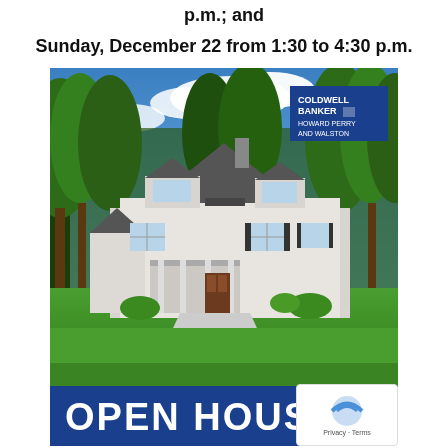p.m.; and
Sunday, December 22 from 1:30 to 4:30 p.m.
[Figure (photo): Real estate open house promotional image showing a large two-story white/gray stone house with dark roof, front porch, surrounded by tall pine trees and green lawn. Coldwell Banker Howard Perry and Walston logo in upper right corner. Blue banner at bottom reading OPEN HOUSE.]